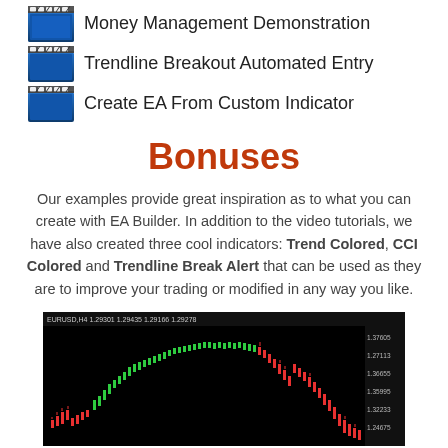Money Management Demonstration
Trendline Breakout Automated Entry
Create EA From Custom Indicator
Bonuses
Our examples provide great inspiration as to what you can create with EA Builder. In addition to the video tutorials, we have also created three cool indicators: Trend Colored, CCI Colored and Trendline Break Alert that can be used as they are to improve your trading or modified in any way you like.
[Figure (screenshot): Forex chart (EURUSD H4) showing candlestick chart with green uptrend and red downtrend candles, price range approximately 1.24 to 1.38]